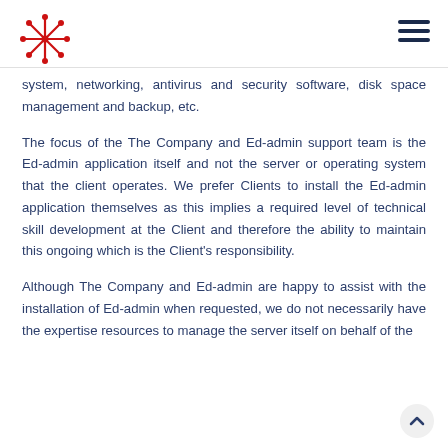[Logo] Ed-admin | hamburger menu
system, networking, antivirus and security software, disk space management and backup, etc.
The focus of the The Company and Ed-admin support team is the Ed-admin application itself and not the server or operating system that the client operates. We prefer Clients to install the Ed-admin application themselves as this implies a required level of technical skill development at the Client and therefore the ability to maintain this ongoing which is the Client's responsibility.
Although The Company and Ed-admin are happy to assist with the installation of Ed-admin when requested, we do not necessarily have the expertise resources to manage the server itself on behalf of the